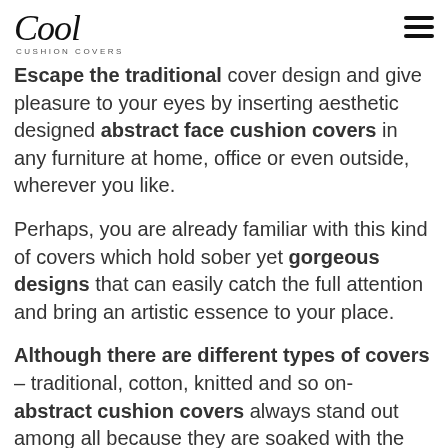Cool CUSHION COVERS
Escape the traditional cover design and give pleasure to your eyes by inserting aesthetic designed abstract face cushion covers in any furniture at home, office or even outside, wherever you like.
Perhaps, you are already familiar with this kind of covers which hold sober yet gorgeous designs that can easily catch the full attention and bring an artistic essence to your place.
Although there are different types of covers – traditional, cotton, knitted and so on- abstract cushion covers always stand out among all because they are soaked with the most colorful and classy design.